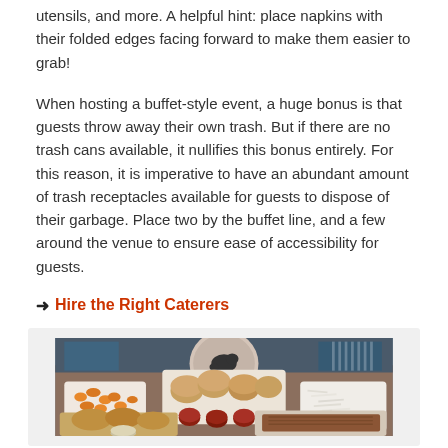utensils, and more. A helpful hint: place napkins with their folded edges facing forward to make them easier to grab!
When hosting a buffet-style event, a huge bonus is that guests throw away their own trash. But if there are no trash cans available, it nullifies this bonus entirely. For this reason, it is imperative to have an abundant amount of trash receptacles available for guests to dispose of their garbage. Place two by the buffet line, and a few around the venue to ensure ease of accessibility for guests.
➜ Hire the Right Caterers
[Figure (photo): Photo of a buffet spread showing various BBQ food items on white serving trays including mac and cheese, rolls/buns, orange/carrots, coleslaw, fried chicken, pulled pork, and small sauce cups. A decorative plate with a pig silhouette is visible in the background.]